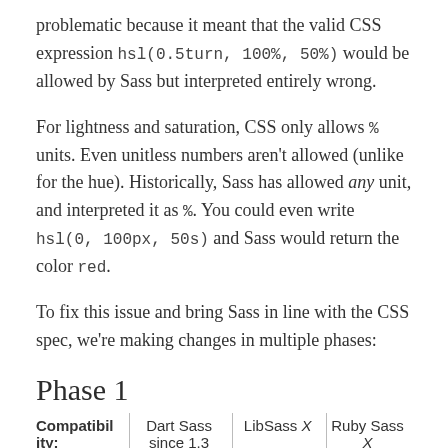problematic because it meant that the valid CSS expression hsl(0.5turn, 100%, 50%) would be allowed by Sass but interpreted entirely wrong.
For lightness and saturation, CSS only allows % units. Even unitless numbers aren't allowed (unlike for the hue). Historically, Sass has allowed any unit, and interpreted it as %. You could even write hsl(0, 100px, 50s) and Sass would return the color red.
To fix this issue and bring Sass in line with the CSS spec, we're making changes in multiple phases:
Phase 1
| Compatibility: | Dart Sass | LibSass | Ruby Sass |
| --- | --- | --- | --- |
|  | since 1.3
2.0 | ✗ | ✗ |
To begin with, we're just introducing deprecation